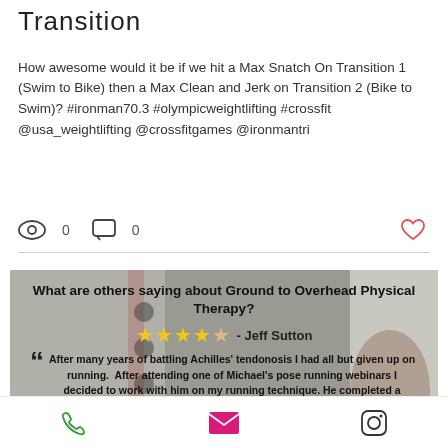Transition
How awesome would it be if we hit a Max Snatch On Transition 1 (Swim to Bike) then a Max Clean and Jerk on Transition 2 (Bike to Swim)? #ironman70.3 #olympicweightlifting #crossfit @usa_weightlifting @crossfitgames @ironmantri
[Figure (screenshot): Social media post stats: eye icon with 0 views, comment icon with 0 comments, heart icon (like button)]
[Figure (photo): Testimonial image overlay on gym background: 'What are others saying about Ground to Overhead Physical Therapy?' with 4 gold stars and '- Jeff Sutton', followed by a quote: 'After many years of battling Achilles' tendonosis I had all but given up on running. After attending one of Michael's pose running webinars I decided to work with him on my running technique. He completed a thorough video analysis of my technique and explained the benefits of pose running and how it could help overcome the flaws in my [continues]']
Phone | Email | Instagram